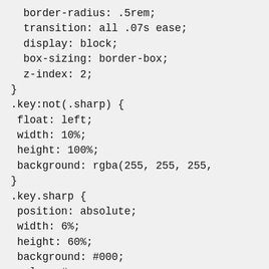border-radius: .5rem;
  transition: all .07s ease;
  display: block;
  box-sizing: border-box;
  z-index: 2;
}
.key:not(.sharp) {
 float: left;
 width: 10%;
 height: 100%;
 background: rgba(255, 255, 255,
}
.key.sharp {
 position: absolute;
 width: 6%;
 height: 60%;
 background: #000;
 color: #eee;
 top: 0;
 z-index: 3;
}
.key[data-key="87"] {
 left: 7%;